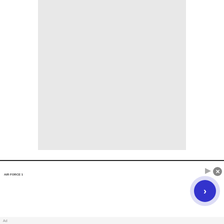[Figure (other): Large light gray rectangular placeholder image occupying the upper center portion of the page]
[Figure (other): Advertisement banner for Nike. Features Nike Air Force 1 shoe image on left, bold blue title 'Nike. Just Do It', description text 'Inspiring the world's athletes, Nike delivers the deals', green URL 'www.nike.com', a circular blue arrow/CTA button on the right, and a close (X) button in the top right corner.]